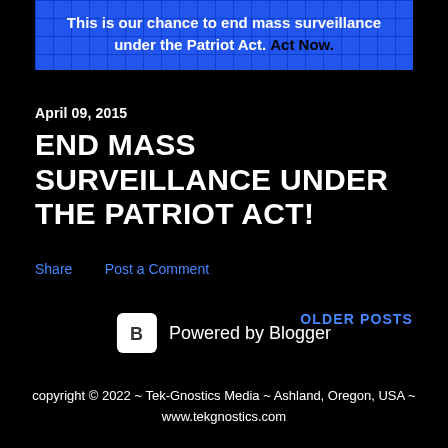[Figure (infographic): Blue banner with circuit board pattern background and white bold text: 'This is our chance to end mass surveillance under the Patriot Act. Act Now.' where 'Act Now.' is in black bold text.]
April 09, 2015
END MASS SURVEILLANCE UNDER THE PATRIOT ACT!
Share    Post a Comment
OLDER POSTS
[Figure (logo): Blogger logo icon (white B on white rounded square) with text 'Powered by Blogger']
copyright © 2022 ~ Tek-Gnostics Media ~ Ashland, Oregon, USA ~ www.tekgnostics.com